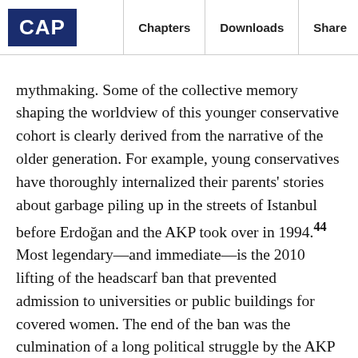CAP | Chapters | Downloads | Share
mythmaking. Some of the collective memory shaping the worldview of this younger conservative cohort is clearly derived from the narrative of the older generation. For example, young conservatives have thoroughly internalized their parents' stories about garbage piling up in the streets of Istanbul before Erdoğan and the AKP took over in 1994.44 Most legendary—and immediate—is the 2010 lifting of the headscarf ban that prevented admission to universities or public buildings for covered women. The end of the ban was the culmination of a long political struggle by the AKP on behalf of religious conservatives—one that all but the youngest supporter is likely to remember—and is a particular source of emotional affinity to the party.45 These two accomplishments of the AKP era